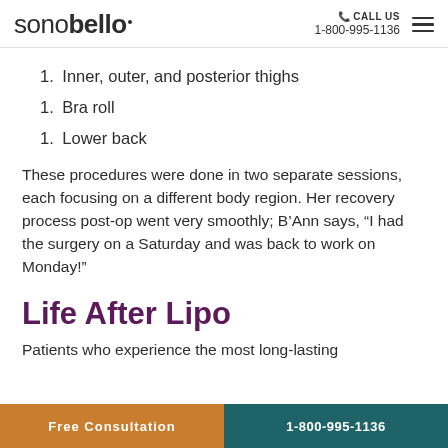sonobello | CALL US 1-800-995-1136
1. Inner, outer, and posterior thighs
1. Bra roll
1. Lower back
These procedures were done in two separate sessions, each focusing on a different body region. Her recovery process post-op went very smoothly; B’Ann says, “I had the surgery on a Saturday and was back to work on Monday!”
Life After Lipo
Patients who experience the most long-lasting
Free Consultation | 1-800-995-1136